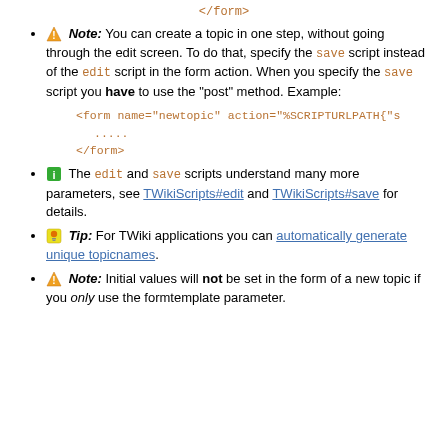</form>
Note: You can create a topic in one step, without going through the edit screen. To do that, specify the save script instead of the edit script in the form action. When you specify the save script you have to use the "post" method. Example:
<form name="newtopic" action="%SCRIPTURLPATH{"s
.....
</form>
The edit and save scripts understand many more parameters, see TWikiScripts#edit and TWikiScripts#save for details.
Tip: For TWiki applications you can automatically generate unique topicnames.
Note: Initial values will not be set in the form of a new topic if you only use the formtemplate parameter.